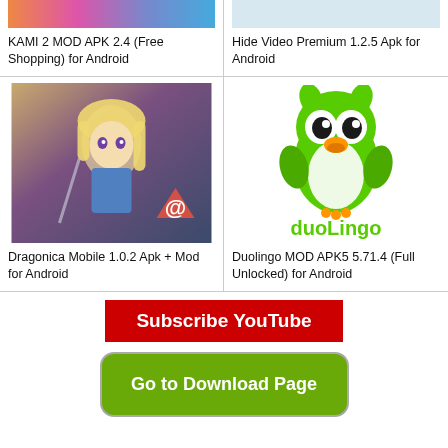[Figure (screenshot): Top portion of KAMI 2 MOD APK app image (partially visible, colorful gradient background)]
[Figure (screenshot): Top portion of Hide Video Premium 1.2.5 app image (partially visible)]
KAMI 2 MOD APK 2.4 (Free Shopping) for Android
Hide Video Premium 1.2.5 Apk for Android
[Figure (illustration): Dragonica Mobile game character - anime girl with blonde hair in blue outfit, red Airbnb-style logo overlay]
[Figure (logo): Duolingo green owl mascot logo with 'duolingo' text below in green]
Dragonica Mobile 1.0.2 Apk + Mod for Android
Duolingo MOD APK5 5.71.4 (Full Unlocked) for Android
Subscribe YouTube
Go to Download Page